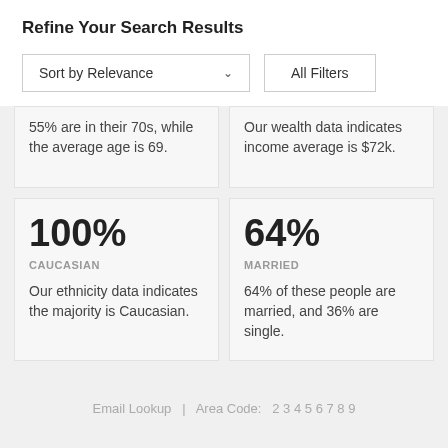Refine Your Search Results
Sort by Relevance
All Filters
55% are in their 70s, while the average age is 69.
Our wealth data indicates income average is $72k.
100%
CAUCASIAN
Our ethnicity data indicates the majority is Caucasian.
64%
MARRIED
64% of these people are married, and 36% are single.
Email Lookup  |  Area Code:  2 3 4 5 6 7 8 9